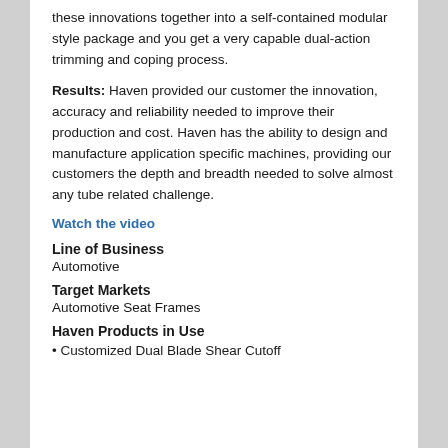these innovations together into a self-contained modular style package and you get a very capable dual-action trimming and coping process.
Results: Haven provided our customer the innovation, accuracy and reliability needed to improve their production and cost. Haven has the ability to design and manufacture application specific machines, providing our customers the depth and breadth needed to solve almost any tube related challenge.
Watch the video
Line of Business
Automotive
Target Markets
Automotive Seat Frames
Haven Products in Use
• Customized Dual Blade Shear Cutoff